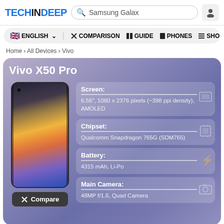TECHINDEEP  Samsung Galax  [user icon]
🇬🇧 ENGLISH ∨  ⚔ COMPARISON  GUIDE  PHONES  SHO
Home › All Devices › Vivo
Vivo X50 Pro
Screen:
6.56", 1080 x 2376 pixels (~398 ppi density), AMOLED
Chipset:
Qualcomm Snapdragon 765G (SDM765)
Battery:
4315 mAh, Li-Po
Main Camera:
48MP f/1.6, Quad Camera
Compare